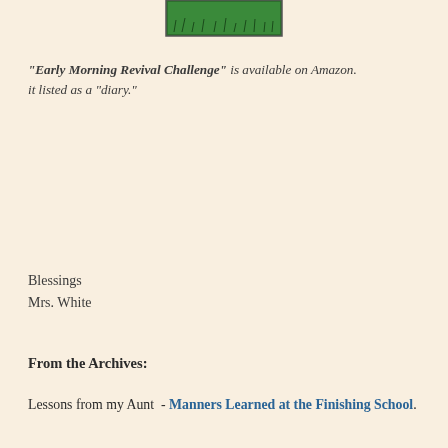[Figure (photo): A small rectangular image at the top center showing green grass or lawn, framed with a thin border.]
"Early Morning Revival Challenge" is available on Amazon. it listed as a "diary."
Blessings
Mrs. White
From the Archives:
Lessons from my Aunt  -  Manners Learned at the Finishing School.